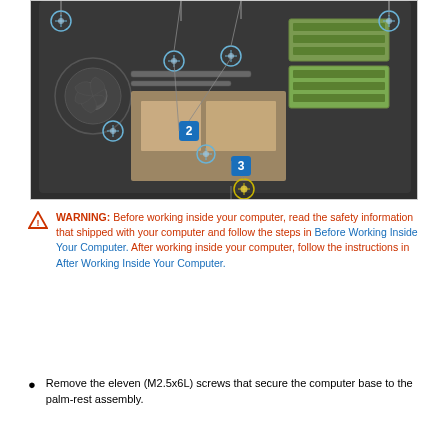[Figure (engineering-diagram): Photograph of the underside of a laptop computer showing screws labeled with numbered callouts (1, 2, 3) and circled screw indicators. The laptop interior shows a fan, memory modules, and motherboard components.]
WARNING: Before working inside your computer, read the safety information that shipped with your computer and follow the steps in Before Working Inside Your Computer. After working inside your computer, follow the instructions in After Working Inside Your Computer.
Remove the eleven (M2.5x6L) screws that secure the computer base to the palm-rest assembly.